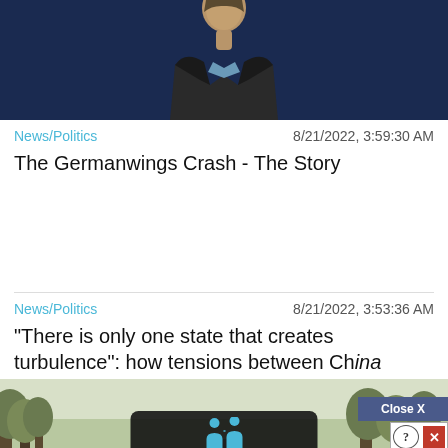[Figure (photo): Person in a dark leather jacket and light blue shirt against a dark blue background, upper body visible]
News/Politics   8/21/2022, 3:59:30 AM
The Germanwings Crash - The Story
News/Politics   8/21/2022, 3:53:36 AM
“There is only one state that creates turbulence”: how tensions between Chìna
[Figure (screenshot): Bottom section showing a woodland/nature image with overlaid UI widgets: a Close X button, help/close buttons, and a Hold and Move widget with people icons]